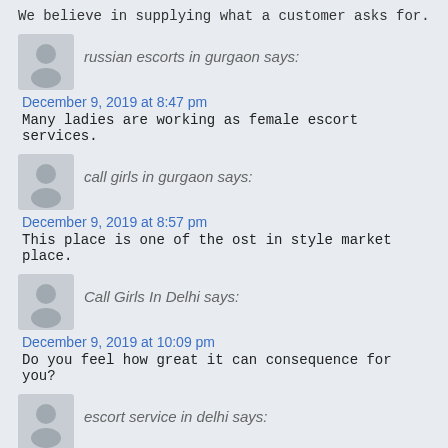We believe in supplying what a customer asks for.
russian escorts in gurgaon says:
December 9, 2019 at 8:47 pm
Many ladies are working as female escort services.
call girls in gurgaon says:
December 9, 2019 at 8:57 pm
This place is one of the ost in style market place.
Call Girls In Delhi says:
December 9, 2019 at 10:09 pm
Do you feel how great it can consequence for you?
escort service in delhi says:
December 9, 2019 at 10:33 pm
After all, we know how wild you can be in bed.
Call Girls In Delhi says: